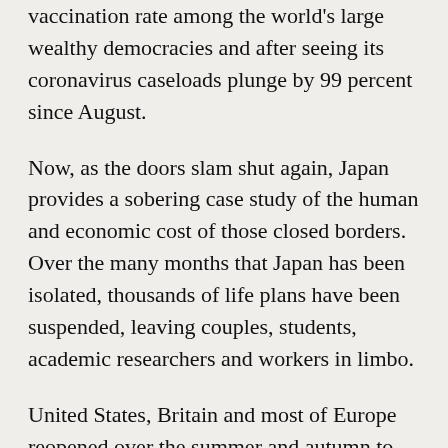investors and students, despite recording the highest vaccination rate among the world's large wealthy democracies and after seeing its coronavirus caseloads plunge by 99 percent since August.
Now, as the doors slam shut again, Japan provides a sobering case study of the human and economic cost of those closed borders. Over the many months that Japan has been isolated, thousands of life plans have been suspended, leaving couples, students, academic researchers and workers in limbo.
United States, Britain and most of Europe reopened over the summer and autumn to vaccinated travelers, Japan and other countries in the Asia-Pacific region opened their borders only a crack, even after achieving some of the world's highest vaccination rates. Now, with the emergence of the Omicron variant, Japan,